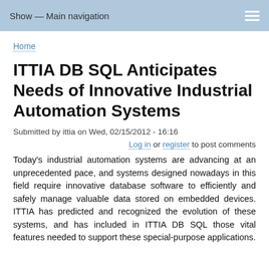Show — Main navigation
Home
ITTIA DB SQL Anticipates Needs of Innovative Industrial Automation Systems
Submitted by ittia on Wed, 02/15/2012 - 16:16
Log in or register to post comments
Today's industrial automation systems are advancing at an unprecedented pace, and systems designed nowadays in this field require innovative database software to efficiently and safely manage valuable data stored on embedded devices. ITTIA has predicted and recognized the evolution of these systems, and has included in ITTIA DB SQL those vital features needed to support these special-purpose applications.